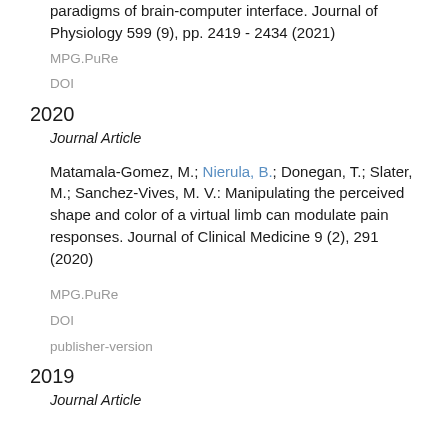over virtual movements controlled through different paradigms of brain-computer interface. Journal of Physiology 599 (9), pp. 2419 - 2434 (2021)
MPG.PuRe
DOI
2020
Journal Article
Matamala-Gomez, M.; Nierula, B.; Donegan, T.; Slater, M.; Sanchez-Vives, M. V.: Manipulating the perceived shape and color of a virtual limb can modulate pain responses. Journal of Clinical Medicine 9 (2), 291 (2020)
MPG.PuRe
DOI
publisher-version
2019
Journal Article